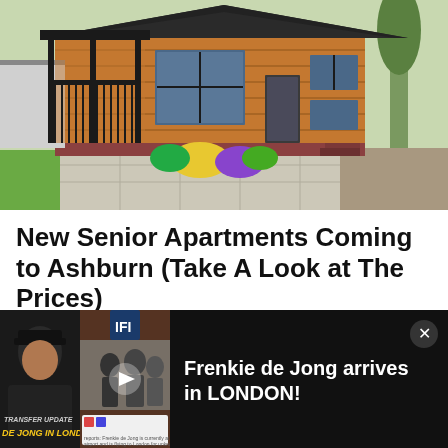[Figure (photo): Exterior photo of a modern wooden-clad single-storey home with black trim, a covered porch, brick foundation, stone patio, and colorful flower beds]
New Senior Apartments Coming to Ashburn (Take A Look at The Prices)
Senior Living | Sponsored
Get Offer
[Figure (screenshot): Video overlay notification: 'Frenkie de Jong arrives in LONDON!' with thumbnail showing a man in cap labeled TRANSFER UPDATE DE JONG IN LONDON and a video still of airport scene with IFI logo]
Frenkie de Jong arrives in LONDON!